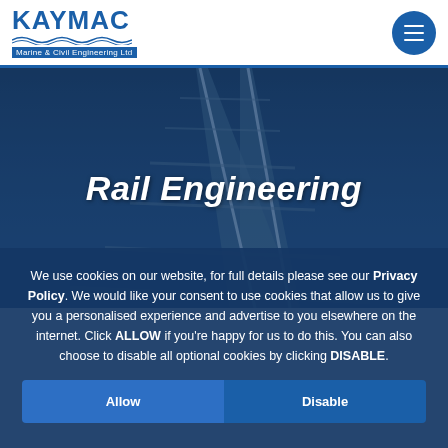[Figure (logo): KAYMAC Marine & Civil Engineering Ltd logo with blue text and wave graphic]
[Figure (photo): Blue-tinted aerial/perspective photo of railway tracks converging to a vanishing point with 'Rail Engineering' title overlay]
Rail Engineering
FILTER BY:
We use cookies on our website, for full details please see our Privacy Policy. We would like your consent to use cookies that allow us to give you a personalised experience and advertise to you elsewhere on the internet. Click ALLOW if you're happy for us to do this. You can also choose to disable all optional cookies by clicking DISABLE.
Allow
Disable